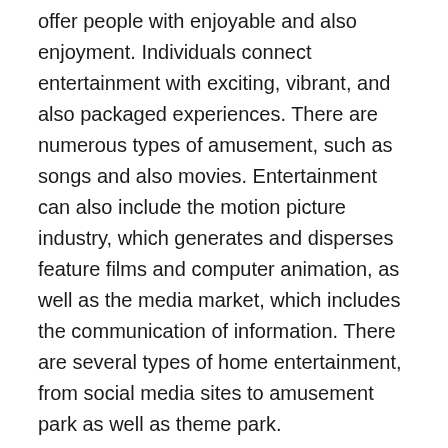offer people with enjoyable and also enjoyment. Individuals connect entertainment with exciting, vibrant, and also packaged experiences. There are numerous types of amusement, such as songs and also movies. Entertainment can also include the motion picture industry, which generates and disperses feature films and computer animation, as well as the media market, which includes the communication of information. There are several types of home entertainment, from social media sites to amusement park as well as theme park.
Depending on the sector, home entertainment legal representatives practice many different types of regulation. Some practice all sorts of entertainment regulation. Others focus on a certain part of this location. Because amusement regulation is so complex as well as diverse, the majority of lawyers in this area